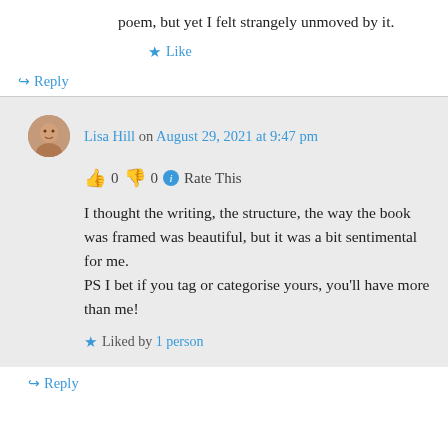poem, but yet I felt strangely unmoved by it.
★ Like
↪ Reply
Lisa Hill on August 29, 2021 at 9:47 pm
👍 0 👎 0 ℹ Rate This
I thought the writing, the structure, the way the book was framed was beautiful, but it was a bit sentimental for me.
PS I bet if you tag or categorise yours, you'll have more than me!
★ Liked by 1 person
↪ Reply